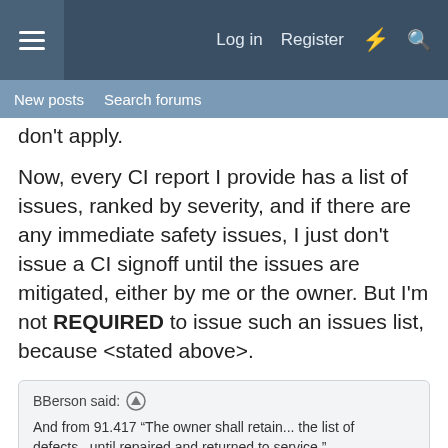Log in  Register
New posts  Search forums
don't apply.
Now, every CI report I provide has a list of issues, ranked by severity, and if there are any immediate safety issues, I just don't issue a CI signoff until the issues are mitigated, either by me or the owner. But I'm not REQUIRED to issue such an issues list, because <stated above>.
BBerson said: ↑
And from 91.417 “The owner shall retain... the list of defects...until repaired and returned to service.”
14 CFR Part 91.417(b)(3) specifically references 14 CFR Part 43.11, and since 43.11 doesn't apply, neither does 91.417(b)(3). The owner can do whatever they want with the list of issues I give them. If I signed off